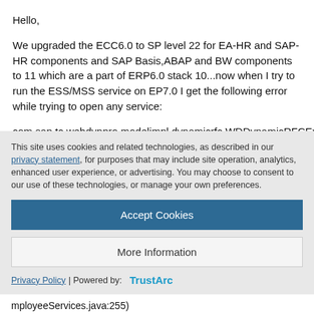Hello,
We upgraded the ECC6.0 to SP level 22 for EA-HR and SAP-HR components and SAP Basis,ABAP and BW components to 11 which are a part of ERP6.0 stack 10...now when I try to run the ESS/MSS service on EP7.0 I get the following error while trying to open any service:
com.sap.tc.webdynpro.modelimpl.dynamicrfc.WDDynamicRFCExecuteException: Inconsistency in the Dictionary for the structure
This site uses cookies and related technologies, as described in our privacy statement, for purposes that may include site operation, analytics, enhanced user experience, or advertising. You may choose to consent to our use of these technologies, or manage your own preferences.
Accept Cookies
More Information
Privacy Policy | Powered by: TrustArc
mployeeServices.java:255)